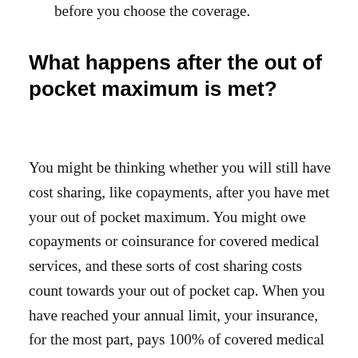before you choose the coverage.
What happens after the out of pocket maximum is met?
You might be thinking whether you will still have cost sharing, like copayments, after you have met your out of pocket maximum. You might owe copayments or coinsurance for covered medical services, and these sorts of cost sharing costs count towards your out of pocket cap. When you have reached your annual limit, your insurance, for the most part, pays 100% of covered medical costs. Thus, you will not owe further cost sharing for the rest of the year.